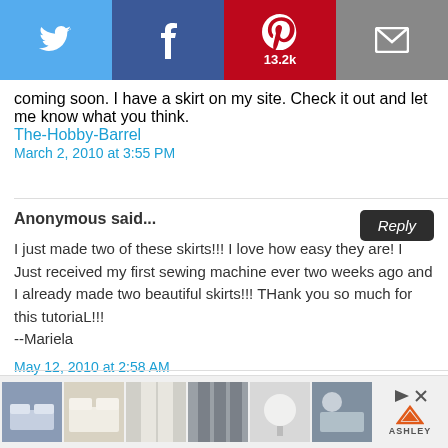[Figure (infographic): Social share bar with Twitter, Facebook, Pinterest (13.2k), and Email buttons]
coming soon. I have a skirt on my site. Check it out and let me know what you think.
The-Hobby-Barrel
March 2, 2010 at 3:55 PM
Anonymous said...
I just made two of these skirts!!! I love how easy they are! I Just received my first sewing machine ever two weeks ago and I already made two beautiful skirts!!! THank you so much for this tutoriaL!!!
--Mariela
May 12, 2010 at 2:58 AM
Aurora said...
[Figure (infographic): Advertisement banner with product images and Ashley logo]